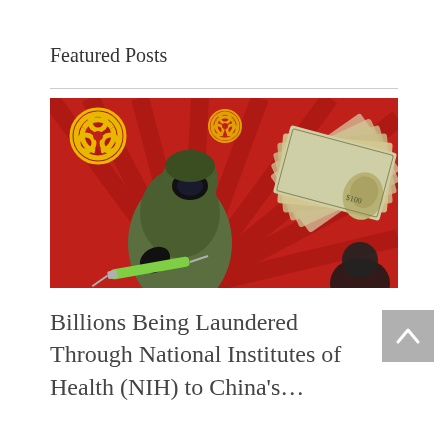Featured Posts
[Figure (illustration): Illustrated image on a red background showing a figure in a gas mask and military-style gear holding a syringe, with biohazard symbols and a large fan of $100 bills in the background, radiating red rays.]
Billions Being Laundered Through National Institutes of Health (NIH) to China’s…